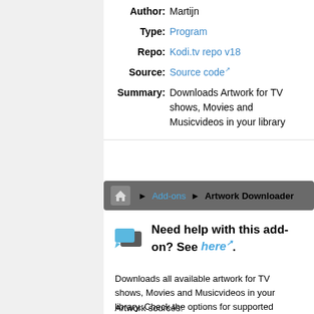Author: Martijn
Type: Program
Repo: Kodi.tv repo v18
Source: Source code
Summary: Downloads Artwork for TV shows, Movies and Musicvideos in your library
Add-ons ▶ Artwork Downloader
Need help with this add-on? See here.
Downloads all available artwork for TV shows, Movies and Musicvideos in your library. Check the options for supported artwork
Artwork sources:
www.fanart.tv